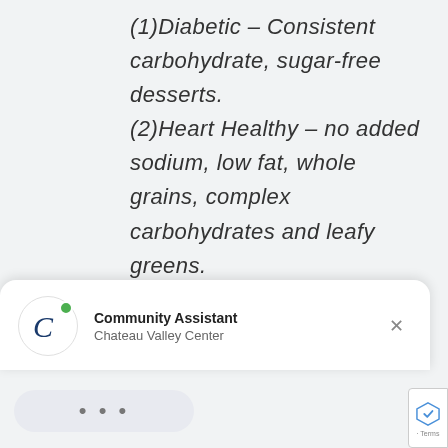(1)Diabetic – Consistent carbohydrate, sugar-free desserts.
(2)Heart Healthy – no added sodium, low fat, whole grains, complex carbohydrates and leafy greens.
Our dining program
[Figure (screenshot): Chat widget overlay showing Community Assistant from Chateau Valley Center with a green online indicator dot, a close X button, and a typing indicator (three dots) bubble below.]